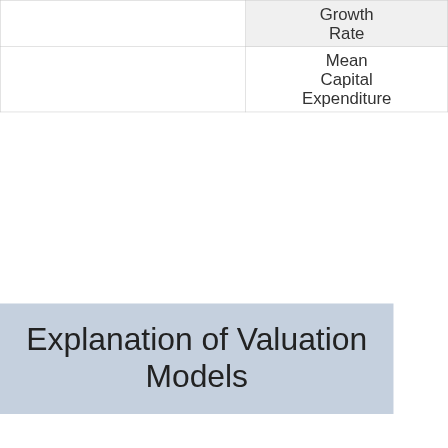|  | Growth Rate |
| --- | --- |
|  | Mean Capital Expenditure |
Explanation of Valuation Models
We have up to 6 valuation points for each company in the database.

The Discounted Cash Flow (DCF) valuation is a cash flow model where cash flow projections are discounted back to the present to calculate value per share. DCF is a common valuation technique especially for companies undergoing irregular cash flows such as